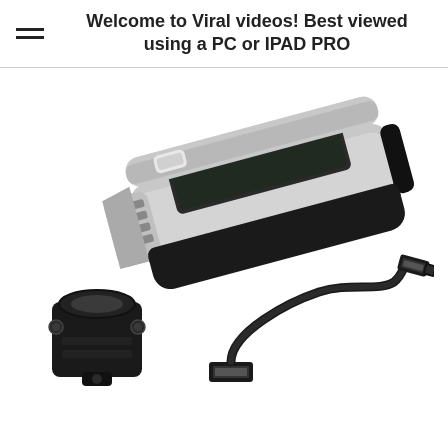Welcome to Viral videos! Best viewed using a PC or IPAD PRO
[Figure (photo): Product photo showing a solar-powered bicycle headlight (silver and black), a handlebar mount clamp (black plastic), and a USB charging cable with mini-USB connector, all on a white background.]